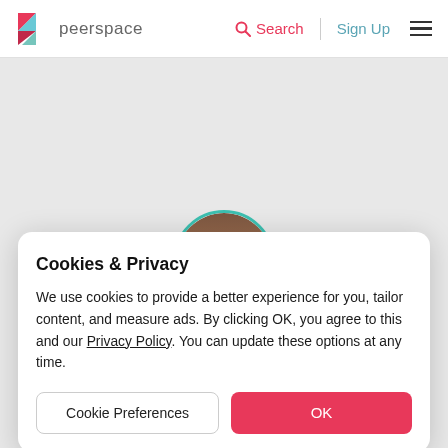[Figure (logo): Peerspace logo with geometric triangular icon in pink/teal and wordmark 'peerspace' in grey]
peerspace  Search  Sign Up
[Figure (photo): Circular profile photo of a person with teal/green border, partially visible behind cookie modal]
Cookies & Privacy
We use cookies to provide a better experience for you, tailor content, and measure ads. By clicking OK, you agree to this and our Privacy Policy. You can update these options at any time.
Cookie Preferences     OK
Marketing Manager | Joined Sep 2021